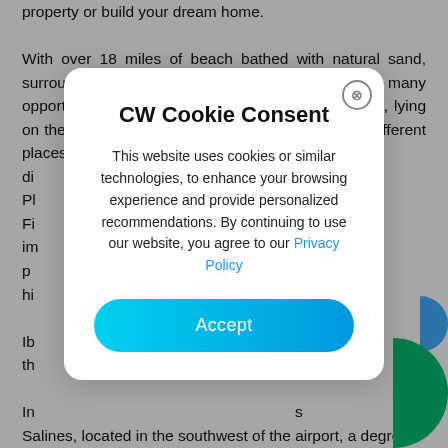property or build your dream home.

With over 18 miles of beach bathed with natural sand, surrounded by clear waters, Ibiza offers many opportunities to enjoy a refreshing dip in the ocean, lying on the beach and use a wide range of services in different places. There magical coves of Cala d'Hort, wh...er di...is Pl...Es Fi...an im...be p...a hi...

Ib...e th...

In...s Salines, located in the southwest of the airport, a degree
[Figure (screenshot): Cookie consent modal dialog with title 'CW Cookie Consent', body text about cookies and privacy policy link, and an Accept button]